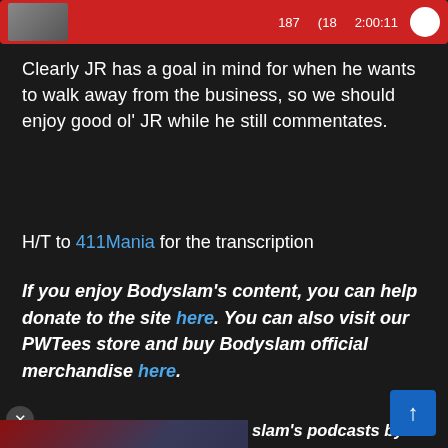[Figure (screenshot): Red bar at top with thumbnail image and numbers 187, (18, 2:00:11 and a white circle button]
Clearly JR has a goal in mind for when he wants to walk away from the business, so we should enjoy good ol' JR while he still commentates.
H/T to 411Mania for the transcription
If you enjoy Bodyslam's content, you can help donate to the site here. You can also visit our PWTees store and buy Bodyslam official merchandise here.
[Figure (screenshot): Video thumbnail showing two wrestlers (John Cena and The Rock) with a play button overlay and WatchMojo logo, partially visible]
slam's podcasts by following g to our YouTube vorite podcast platforms.
slamNet